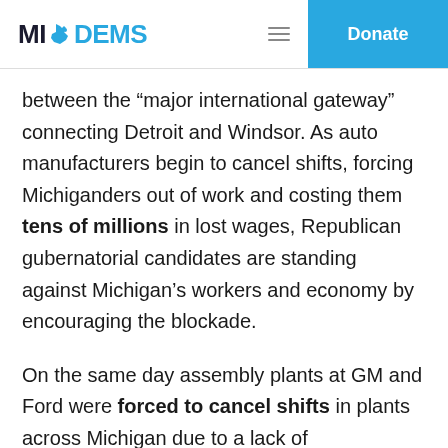MI DEMS | Donate
between the “major international gateway” connecting Detroit and Windsor. As auto manufacturers begin to cancel shifts, forcing Michiganders out of work and costing them tens of millions in lost wages, Republican gubernatorial candidates are standing against Michigan’s workers and economy by encouraging the blockade.
On the same day assembly plants at GM and Ford were forced to cancel shifts in plants across Michigan due to a lack of